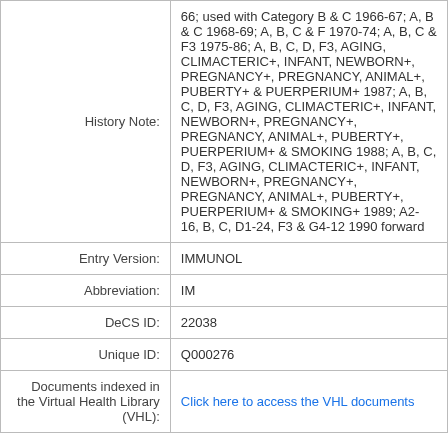| Field | Value |
| --- | --- |
| History Note: | 66; used with Category B & C 1966-67; A, B & C 1968-69; A, B, C & F 1970-74; A, B, C & F3 1975-86; A, B, C, D, F3, AGING, CLIMACTERIC+, INFANT, NEWBORN+, PREGNANCY+, PREGNANCY, ANIMAL+, PUBERTY+ & PUERPERIUM+ 1987; A, B, C, D, F3, AGING, CLIMACTERIC+, INFANT, NEWBORN+, PREGNANCY+, PREGNANCY, ANIMAL+, PUBERTY+, PUERPERIUM+ & SMOKING 1988; A, B, C, D, F3, AGING, CLIMACTERIC+, INFANT, NEWBORN+, PREGNANCY+, PREGNANCY, ANIMAL+, PUBERTY+, PUERPERIUM+ & SMOKING+ 1989; A2-16, B, C, D1-24, F3 & G4-12 1990 forward |
| Entry Version: | IMMUNOL |
| Abbreviation: | IM |
| DeCS ID: | 22038 |
| Unique ID: | Q000276 |
| Documents indexed in the Virtual Health Library (VHL): | Click here to access the VHL documents |